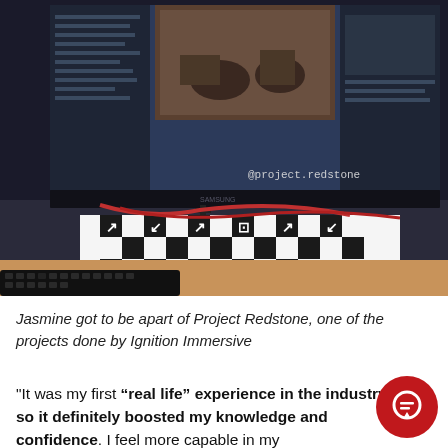[Figure (photo): Photo of a computer monitor showing video editing software with a black and white checkerboard calibration pattern on a desk in front, along with a keyboard. Text overlay reads @project.redstone]
Jasmine got to be apart of Project Redstone, one of the projects done by Ignition Immersive
"It was my first “real life” experience in the industry, so it definitely boosted my knowledge and confidence. I feel more capable in my